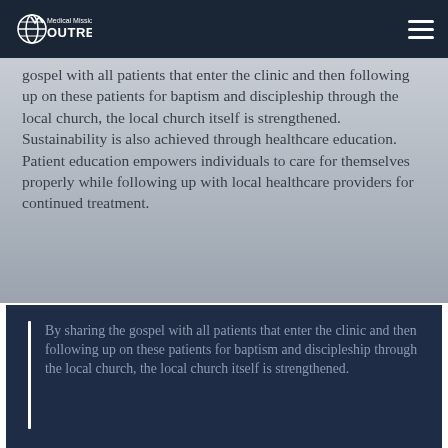Medical Missions Outreach
gospel with all patients that enter the clinic and then following up on these patients for baptism and discipleship through the local church, the local church itself is strengthened. Sustainability is also achieved through healthcare education. Patient education empowers individuals to care for themselves properly while following up with local healthcare providers for continued treatment.
By sharing the gospel with all patients that enter the clinic and then following up on these patients for baptism and discipleship through the local church, the local church itself is strengthened.